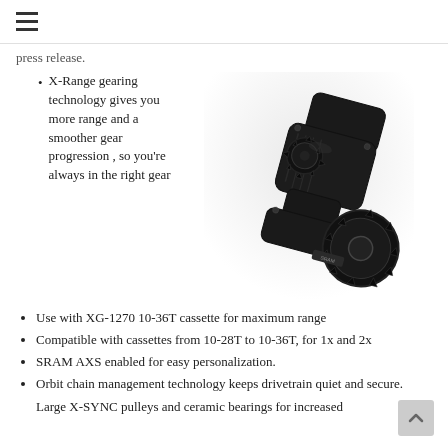☰ (hamburger menu)
press release.
X-Range gearing technology gives you more range and a smoother gear progression , so you're always in the right gear
[Figure (photo): Black SRAM rear derailleur component photographed at an angle on white background]
Use with XG-1270 10-36T cassette for maximum range
Compatible with cassettes from 10-28T to 10-36T, for 1x and 2x
SRAM AXS enabled for easy personalization.
Orbit chain management technology keeps drivetrain quiet and secure.
Large X-SYNC pulleys and ceramic bearings for increased